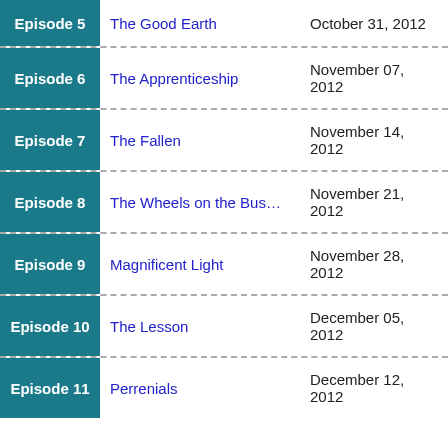Episode 5 | The Good Earth | October 31, 2012
Episode 6 | The Apprenticeship | November 07, 2012
Episode 7 | The Fallen | November 14, 2012
Episode 8 | The Wheels on the Bus… | November 21, 2012
Episode 9 | Magnificent Light | November 28, 2012
Episode 10 | The Lesson | December 05, 2012
Episode 11 | Perrenials | December 12, 2012